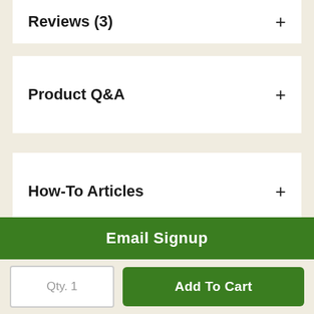Reviews (3)
Product Q&A
How-To Articles
Email Signup
Qty. 1
Add To Cart